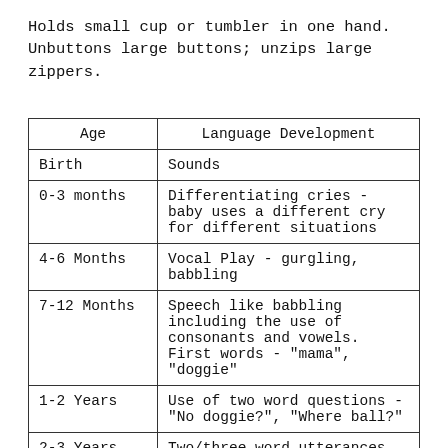Holds small cup or tumbler in one hand. Unbuttons large buttons; unzips large zippers.
| Age | Language Development |
| --- | --- |
| Birth | Sounds |
| 0-3 months | Differentiating cries - baby uses a different cry for different situations |
| 4-6 Months | Vocal Play - gurgling, babbling |
| 7-12 Months | Speech like babbling including the use of consonants and vowels. First words - "mama", "doggie" |
| 1-2 Years | Use of two word questions - "No doggie?", "Where ball?" |
| 2-3 Years | Two/three word utterances. Use of attributes - "Big", "Fast"... |